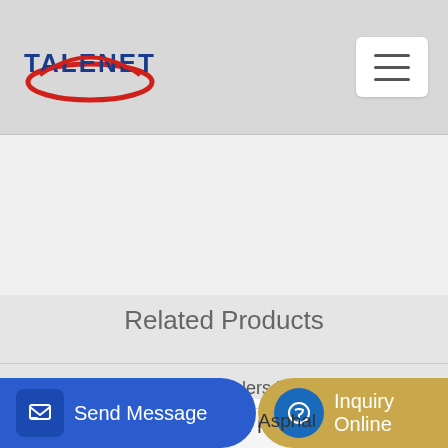[Figure (logo): TALENET company logo with red oval and blue bold text]
Related Products
concrete pump dealers in Ethiopia
Wholesale concrete planters HZS50 self loading concrete batching
Asphal
Send Message | Inquiry Online